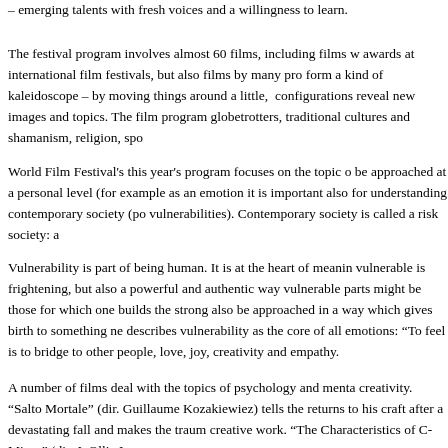– emerging talents with fresh voices and a willingness to learn.
The festival program involves almost 60 films, including films w... awards at international film festivals, but also films by many pro... form a kind of kaleidoscope – by moving things around a little, configurations reveal new images and topics. The film program... globetrotters, traditional cultures and shamanism, religion, spo...
World Film Festival's this year's program focuses on the topic o... be approached at a personal level (for example as an emotion it is important also for understanding contemporary society (po... vulnerabilities). Contemporary society is called a risk society: a
Vulnerability is part of being human. It is at the heart of meanin... vulnerable is frightening, but also a powerful and authentic way... vulnerable parts might be those for which one builds the strong... also be approached in a way which gives birth to something ne... describes vulnerability as the core of all emotions: "To feel is to... bridge to other people, love, joy, creativity and empathy.
A number of films deal with the topics of psychology and menta... creativity. "Salto Mortale" (dir. Guillaume Kozakiewiez) tells the... returns to his craft after a devastating fall and makes the traum... creative work. "The Characteristics of C-Minor" (dir. J. Ollie Luc...